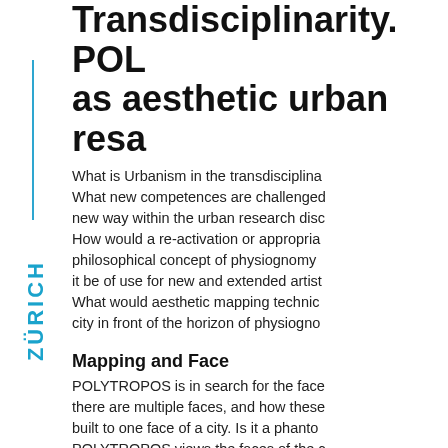Transdisciplinarity. POL... as aesthetic urban resa...
What is Urbanism in the transdisciplina... What new competences are challenged... new way within the urban research disc... How would a re-activation or appropria... philosophical concept of physiognomy... it be of use for new and extended artist... What would aesthetic mapping technic... city in front of the horizon of physiogno...
Mapping and Face
POLYTROPOS is in search for the face... there are multiple faces, and how these... built to one face of a city. Is it a phanto... POLYTROPOS views the faces of the c... metaphor, as a map while generating o... city. It is an attempt to apply physiogno...
[Figure (other): Vertical blue line sidebar decoration with rotated bold blue ZÜRICH text label]
ZÜRICH